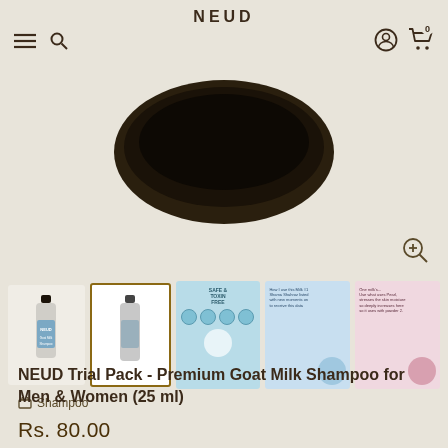NEUD
[Figure (photo): Main product image area showing a dark bowl/container of NEUD Premium Goat Milk Shampoo from above on a beige background]
[Figure (photo): Thumbnail row with 5 product images: two bottle shots of the 25ml trial pack, one blue safe & toxin free infographic, one blue testimonial card, one pink testimonial card]
Shampoo
NEUD Trial Pack - Premium Goat Milk Shampoo for Men & Women (25 ml)
Rs. 80.00